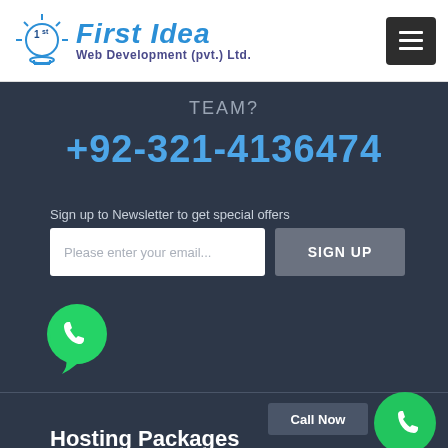[Figure (logo): First Idea Web Development (pvt.) Ltd. logo with stylized '1st' icon and blue italic text]
TEAM?
+92-321-4136474
Sign up to Newsletter to get special offers
Please enter your email...
SIGN UP
[Figure (illustration): WhatsApp green phone icon in speech bubble]
Call Now
Hosting Packages